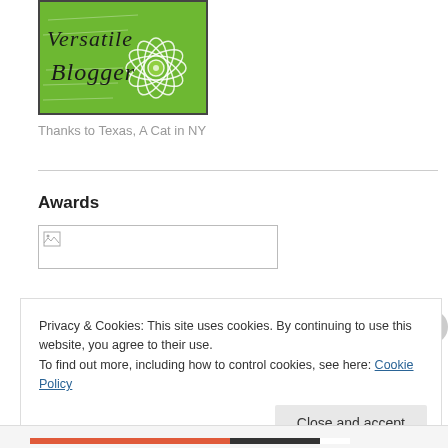[Figure (illustration): Green 'Versatile Blogger' award badge with decorative flower and handwriting-style background]
Thanks to Texas, A Cat in NY
Awards
[Figure (other): Broken image placeholder (awards image failed to load)]
Privacy & Cookies: This site uses cookies. By continuing to use this website, you agree to their use.
To find out more, including how to control cookies, see here: Cookie Policy